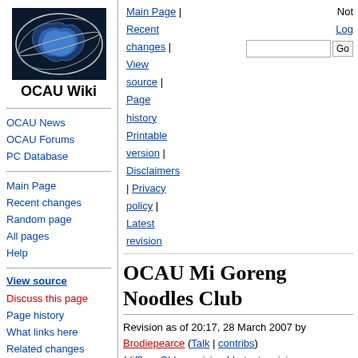[Figure (logo): OCAU Wiki logo — stylized map of Australia in blue/dark tones with a ring around it, space background]
OCAU Wiki
OCAU News
OCAU Forums
PC Database
Main Page
Recent changes
Random page
All pages
Help
View source
Discuss this page
Page history
What links here
Related changes
Main Page | Recent changes | View source | Page history | Printable version | Disclaimers | Privacy policy | Latest revision
OCAU Mi Goreng Noodles Club
Revision as of 20:17, 28 March 2007 by Brodiepearce (Talk | contribs)
(diff) ← Older revision | Latest revision (diff) | Newer revision → (diff)